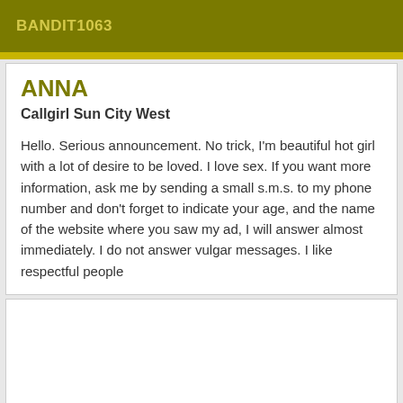BANDIT1063
ANNA
Callgirl Sun City West
Hello. Serious announcement. No trick, I'm beautiful hot girl with a lot of desire to be loved. I love sex. If you want more information, ask me by sending a small s.m.s. to my phone number and don't forget to indicate your age, and the name of the website where you saw my ad, I will answer almost immediately. I do not answer vulgar messages. I like respectful people